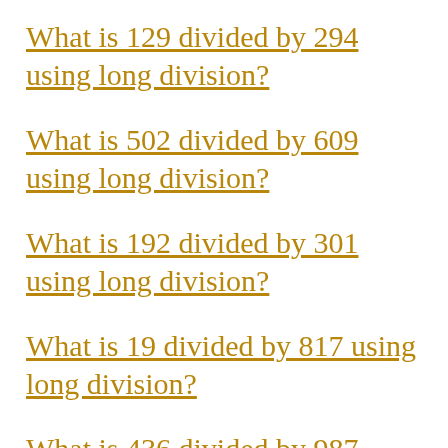What is 129 divided by 294 using long division?
What is 502 divided by 609 using long division?
What is 192 divided by 301 using long division?
What is 19 divided by 817 using long division?
What is 436 divided by 987 using long division?
What is 155 divided by 749 using long division?